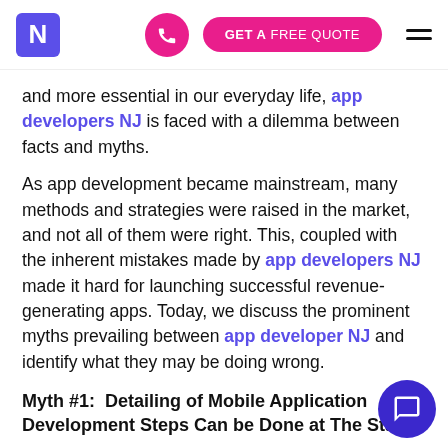N | [phone button] | GET A FREE QUOTE | [hamburger menu]
and more essential in our everyday life, app developers NJ is faced with a dilemma between facts and myths.
As app development became mainstream, many methods and strategies were raised in the market, and not all of them were right. This, coupled with the inherent mistakes made by app developers NJ made it hard for launching successful revenue-generating apps. Today, we discuss the prominent myths prevailing between app developer NJ and identify what they may be doing wrong.
Myth #1:  Detailing of Mobile Application Development Steps Can be Done at The Start